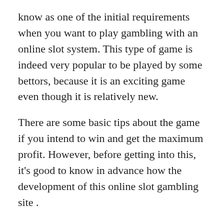know as one of the initial requirements when you want to play gambling with an online slot system. This type of game is indeed very popular to be played by some bettors, because it is an exciting game even though it is relatively new.
There are some basic tips about the game if you intend to win and get the maximum profit. However, before getting into this, it's good to know in advance how the development of this online slot gambling site .
As a play product from providers such as Pragmatic Play with its popularity judi slot online, Main Power Of Thir Megaways is not difficult. There are several spices that must be considered in detail in order to achieve maximum results in all competitions that take place.